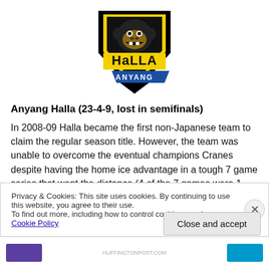[Figure (logo): Anyang Halla ice hockey team logo — gorilla face above chevron badge with yellow HALLA text and blue ANYANG banner]
Anyang Halla (23-4-9, lost in semifinals)
In 2008-09 Halla became the first non-Japanese team to claim the regular season title. However, the team was unable to overcome the eventual champions Cranes despite having the home ice advantage in a tough 7 game series that went the distance (4 of the 7 games were 1
Privacy & Cookies: This site uses cookies. By continuing to use this website, you agree to their use.
To find out more, including how to control cookies, see here: Cookie Policy
Close and accept